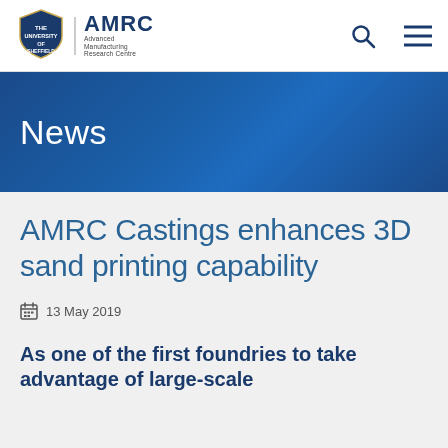[Figure (logo): University of Sheffield / AMRC Advanced Manufacturing Research Centre logo]
News
AMRC Castings enhances 3D sand printing capability
13 May 2019
As one of the first foundries to take advantage of large-scale